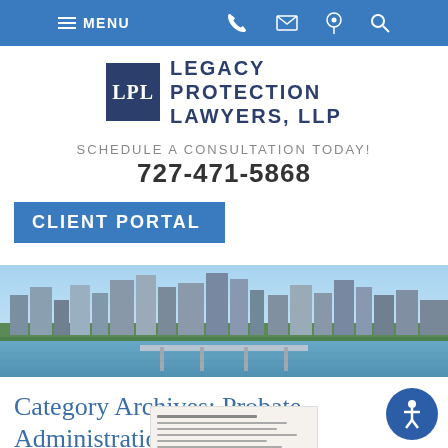MENU | phone | email | location | search
[Figure (logo): Legacy Protection Lawyers, LLP logo with LPL monogram in dark blue square]
SCHEDULE A CONSULTATION TODAY!
727-471-5868
CLIENT PORTAL
[Figure (photo): City skyline over water — Tampa/St. Petersburg Florida waterfront with bridge and buildings]
Category Archives: Probate Administration
[Figure (photo): Partial view of a tax or financial document with printed text]